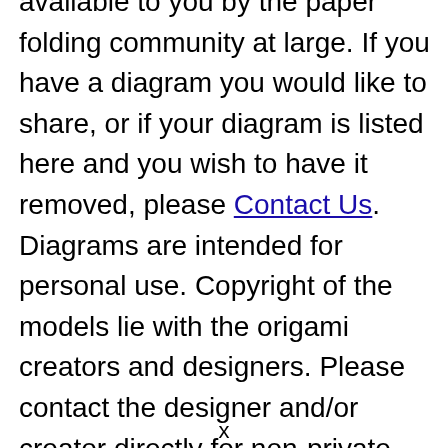available to you by the paper folding community at large. If you have a diagram you would like to share, or if your diagram is listed here and you wish to have it removed, please Contact Us. Diagrams are intended for personal use. Copyright of the models lie with the origami creators and designers. Please contact the designer and/or creator directly for non-private usage of a model and/or artwork.
x